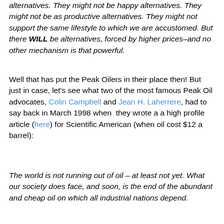alternatives. They might not be happy alternatives. They might not be as productive alternatives. They might not support the same lifestyle to which we are accustomed. But there WILL be alternatives, forced by higher prices–and no other mechanism is that powerful.
Well that has put the Peak Oilers in their place then! But just in case, let's see what two of the most famous Peak Oil advocates, Colin Campbell and Jean H. Laherrere, had to say back in March 1998 when they wrote a a high profile article (here) for Scientific American (when oil cost $12 a barrel):
The world is not running out of oil – at least not yet. What our society does face, and soon, is the end of the abundant and cheap oil on which all industrial nations depend.